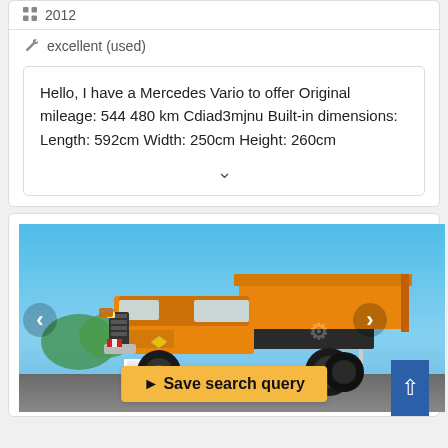2012
excellent (used)
Hello, I have a Mercedes Vario to offer Original mileage: 544 480 km Cdiad3mjnu Built-in dimensions: Length: 592cm Width: 250cm Height: 260cm
[Figure (photo): Orange Mercedes Unimog truck with dump body, parked outdoors under blue sky with flags in background]
Save search query